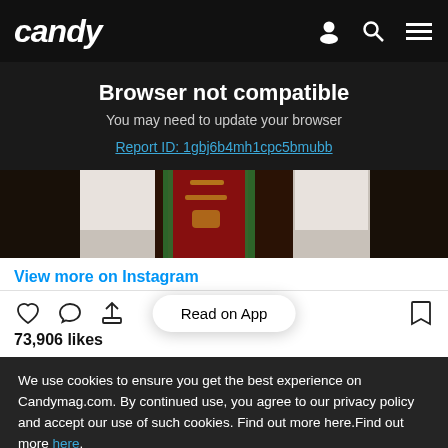candy
Browser not compatible
You may need to update your browser
Report ID: 1gbj6b4mh1cpc5bmubb
[Figure (photo): Partial photo of a person wearing a white top and a decorative red and green sash/ribbon with embroidery]
View more on Instagram
73,906 likes
We use cookies to ensure you get the best experience on Candymag.com. By continued use, you agree to our privacy policy and accept our use of such cookies. Find out more here.Find out more here.
I AGREE
I DISAGREE